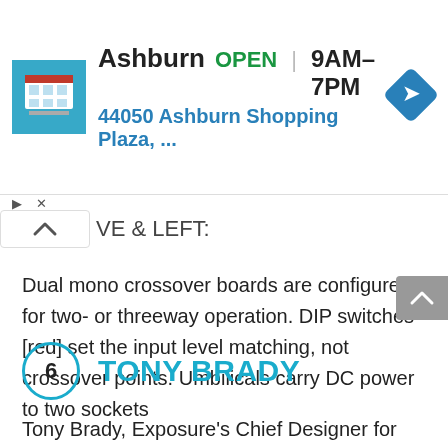[Figure (screenshot): Ad banner showing Ashburn store location: OPEN 9AM-7PM, 44050 Ashburn Shopping Plaza, with store thumbnail and navigation arrow icon]
VE & LEFT:
Dual mono crossover boards are configured for two- or threeway operation. DIP switches [red] set the input level matching, not crossover points. Umbilicals carry DC power to two sockets
6  TONY BRADY
Tony Brady, Exposure's Chief Designer for over 20